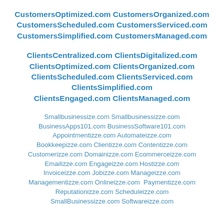CustomersOptimized.com CustomersOrganized.com CustomersScheduled.com CustomersServiced.com CustomersSimplified.com CustomersManaged.com
ClientsCentralized.com ClientsDigitalized.com ClientsOptimized.com ClientsOrganized.com ClientsScheduled.com ClientsServiced.com ClientsSimplified.com ClientsEngaged.com ClientsManaged.com
Smallbusinessize.com Smallbusinessizze.com BusinessApps101.com BusinessSoftware101.com Appointmentizze.com Automateizze.com Bookkeepizze.com Clientizze.com Contentizze.com Customerizze.com Domainizze.com Ecommerceizze.com Emailizze.com Engageizze.com Hostizze.com Invoiceizze.com Jobizze.com Manageizze.com Managementizze.com Onlineizze.com Paymentizze.com Reputationizze.com Scheduleizze.com SmallBusinessizze.com Softwareizze.com